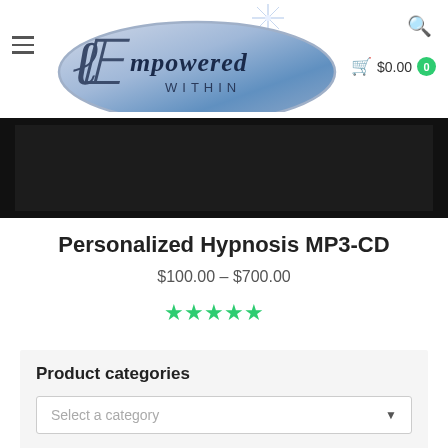[Figure (logo): Empowered Within logo — silver oval with decorative script and star burst]
[Figure (photo): Dark/black banner image area representing a product photo backdrop]
Personalized Hypnosis MP3-CD
$100.00 – $700.00
[Figure (other): Five green star rating]
Product categories
Select a category